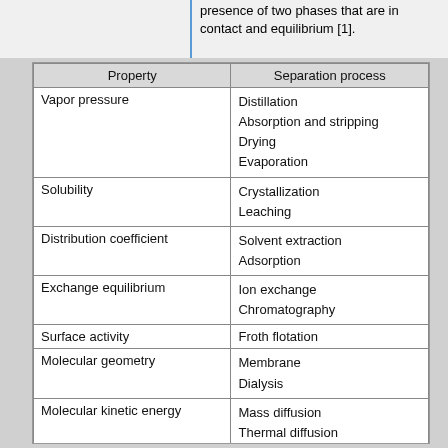presence of two phases that are in contact and equilibrium [1].
| Property | Separation process |
| --- | --- |
| Vapor pressure | Distillation
Absorption and stripping
Drying
Evaporation |
| Solubility | Crystallization
Leaching |
| Distribution coefficient | Solvent extraction
Adsorption |
| Exchange equilibrium | Ion exchange
Chromatography |
| Surface activity | Froth flotation |
| Molecular geometry | Membrane
Dialysis |
| Molecular kinetic energy | Mass diffusion
Thermal diffusion |
| Electrical field | Precipitation |
| Particle size | Filtration
Screening
Settling
Sedimentation |
| Particle size and density | Centrifugation |